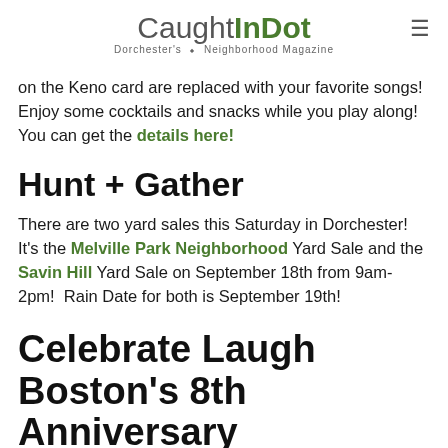CaughtInDot — Dorchester's Neighborhood Magazine
on the Keno card are replaced with your favorite songs! Enjoy some cocktails and snacks while you play along! You can get the details here!
Hunt + Gather
There are two yard sales this Saturday in Dorchester! It's the Melville Park Neighborhood Yard Sale and the Savin Hill Yard Sale on September 18th from 9am-2pm!  Rain Date for both is September 19th!
Celebrate Laugh Boston's 8th Anniversary